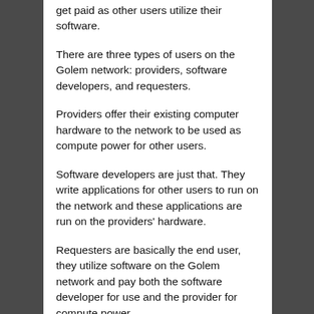get paid as other users utilize their software.
There are three types of users on the Golem network: providers, software developers, and requesters.
Providers offer their existing computer hardware to the network to be used as compute power for other users.
Software developers are just that. They write applications for other users to run on the network and these applications are run on the providers' hardware.
Requesters are basically the end user, they utilize software on the Golem network and pay both the software developer for use and the provider for compute power.
GNT is an ERC-20 token and the backbone of